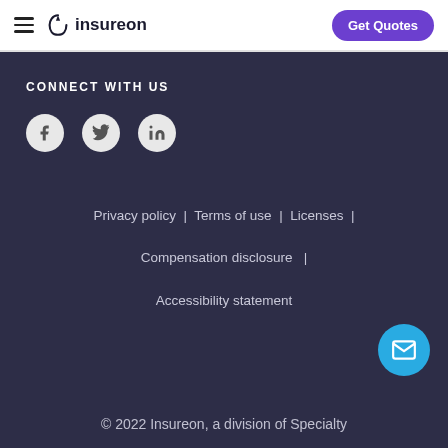Insureon | Get Quotes
CONNECT WITH US
[Figure (illustration): Social media icons: Facebook, Twitter, LinkedIn in grey circles]
Privacy policy | Terms of use | Licenses | Compensation disclosure | Accessibility statement
© 2022 Insureon, a division of Specialty